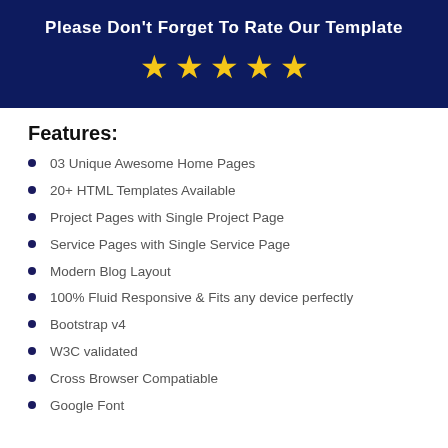[Figure (infographic): Dark navy blue banner with bold white text 'Please Don't Forget To Rate Our Template' and five yellow star icons below the text.]
Features:
03 Unique Awesome Home Pages
20+ HTML Templates Available
Project Pages with Single Project Page
Service Pages with Single Service Page
Modern Blog Layout
100% Fluid Responsive & Fits any device perfectly
Bootstrap v4
W3C validated
Cross Browser Compatiable
Google Font